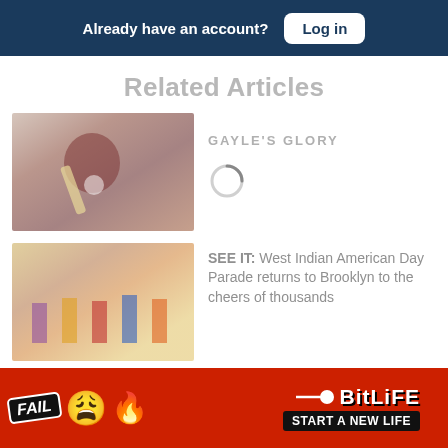Already have an account? Log in
Related Articles
[Figure (photo): Cricket player batting, wearing maroon helmet and jersey, blurred stadium background]
GAYLE'S GLORY
[Figure (photo): Crowd at West Indian American Day Parade with colorful costumes]
SEE IT: West Indian American Day Parade returns to Brooklyn to the cheers of thousands
[Figure (other): BitLife advertisement banner with FAIL badge, emoji, flame, sperm icon, BitLife logo, and START A NEW LIFE text on red background]